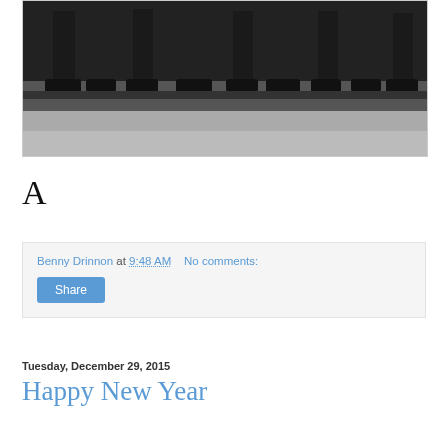[Figure (photo): Black and white photograph showing legs and boots of people standing on a platform or surface, cropped at the waist level.]
A
Benny Drinnon at 9:48 AM   No comments:
Share
Tuesday, December 29, 2015
Happy New Year